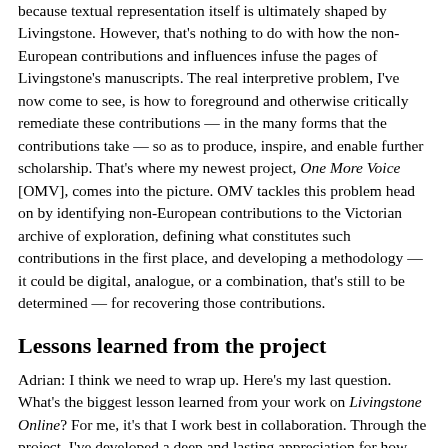because textual representation itself is ultimately shaped by Livingstone. However, that's nothing to do with how the non-European contributions and influences infuse the pages of Livingstone's manuscripts. The real interpretive problem, I've now come to see, is how to foreground and otherwise critically remediate these contributions — in the many forms that the contributions take — so as to produce, inspire, and enable further scholarship. That's where my newest project, One More Voice [OMV], comes into the picture. OMV tackles this problem head on by identifying non-European contributions to the Victorian archive of exploration, defining what constitutes such contributions in the first place, and developing a methodology — it could be digital, analogue, or a combination, that's still to be determined — for recovering those contributions.
Lessons learned from the project
Adrian: I think we need to wrap up. Here's my last question. What's the biggest lesson learned from your work on Livingstone Online? For me, it's that I work best in collaboration. Through the project, I've developed a deep and lasting appreciation for how collective intellectual power, especially when it's rooted in collegiality, can solve even very challenging research problems. Working with people across disciplines also doesn't hurt because project colleagues in other disciplines often have amazing insights,